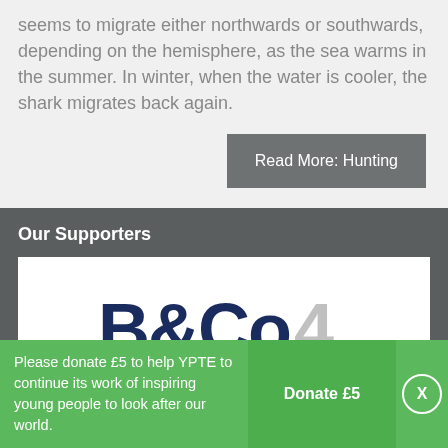seems to migrate either northwards or southwards, depending on the hemisphere, as the sea warms in the summer. In winter, when the water is cooler, the shark migrates back again.
Read More: Hunting
Our Supporters
[Figure (logo): Partial logo reading 'B&Co' with a partially visible number or letter to the right, in dark navy and light gray colors on white background]
Please donate £5 to help YPTE to continue its work of inspiring young people to look after our world.
Donate £5